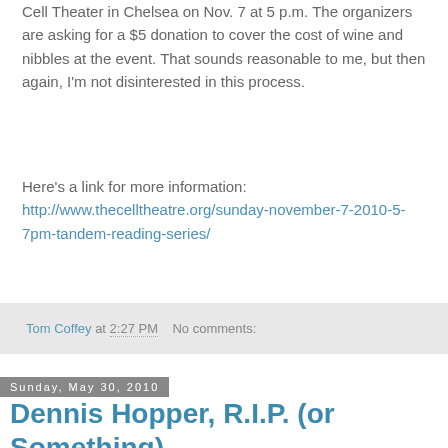Cell Theater in Chelsea on Nov. 7 at 5 p.m. The organizers are asking for a $5 donation to cover the cost of wine and nibbles at the event. That sounds reasonable to me, but then again, I'm not disinterested in this process.
Here's a link for more information:
http://www.thecelltheatre.org/sunday-november-7-2010-5-7pm-tandem-reading-series/
Tom Coffey at 2:27 PM    No comments:
Sunday, May 30, 2010
Dennis Hopper, R.I.P. (or Something)
I'm writing this at the request of my brother, Andrew, who reminded me of it upon the recent death of Dennis Hopper. The story, as I heard it, ran like this.
In the 1980s, when Hopper was nominated for a Best Supporting Actor nomination, he was called the morning the nominations were announced by a New York Times reporter